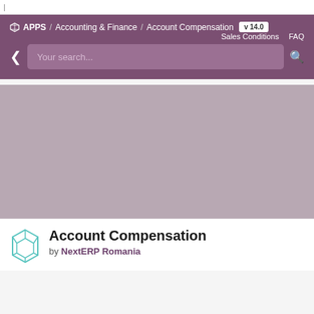|
APPS / Accounting & Finance / Account Compensation v 14.0 Sales Conditions FAQ
Your search...
[Figure (screenshot): Gray placeholder image for Account Compensation module banner]
Account Compensation
by NextERP Romania